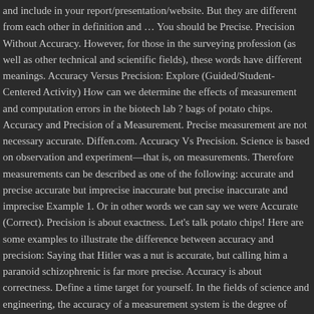and include in your report/presentation/website. But they are different from each other in definition and … You should be Precise. Precision Without Accuracy. However, for those in the surveying profession (as well as other technical and scientific fields), these words have different meanings. Accuracy Versus Precision: Explore (Guided/Student-Centered Activity) How can we determine the effects of measurement and computation errors in the biotech lab ? bags of potato chips. Accuracy and Precision of a Measurement. Precise measurement are not necessary accurate. Diffen.com. Accuracy Vs Precision. Science is based on observation and experiment—that is, on measurements. Therefore measurements can be described as one of the following: accurate and precise accurate but imprecise inaccurate but precise inaccurate and imprecise Example 1. Or in other words we can say we were Accurate (Correct). Precision is about exactness. Let's talk potato chips! Here are some examples to illustrate the difference between accuracy and precision: Saying that Hitler was a nut is accurate, but calling him a paranoid schizophrenic is far more precise. Accuracy is about correctness. Define a time target for yourself. In the fields of science and engineering, the accuracy of a measurement system is the degree of